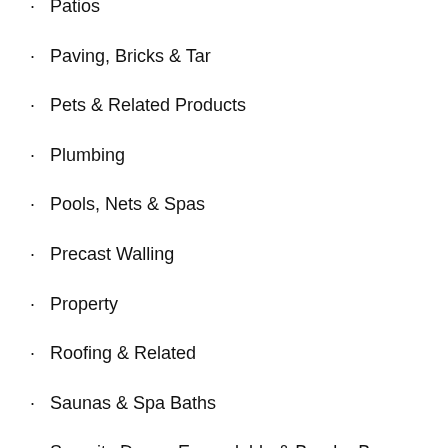Patios
Paving, Bricks & Tar
Pets & Related Products
Plumbing
Pools, Nets & Spas
Precast Walling
Property
Roofing & Related
Saunas & Spa Baths
Security Doors, Expandable & Burglar Bars
Security Related
Sewing Machines